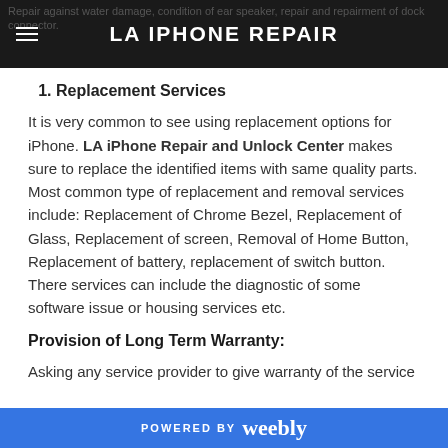LA IPHONE REPAIR
1. Replacement Services
It is very common to see using replacement options for iPhone. LA iPhone Repair and Unlock Center makes sure to replace the identified items with same quality parts. Most common type of replacement and removal services include: Replacement of Chrome Bezel, Replacement of Glass, Replacement of screen, Removal of Home Button, Replacement of battery, replacement of switch button. There services can include the diagnostic of some software issue or housing services etc.
Provision of Long Term Warranty:
Asking any service provider to give warranty of the service
POWERED BY weebly